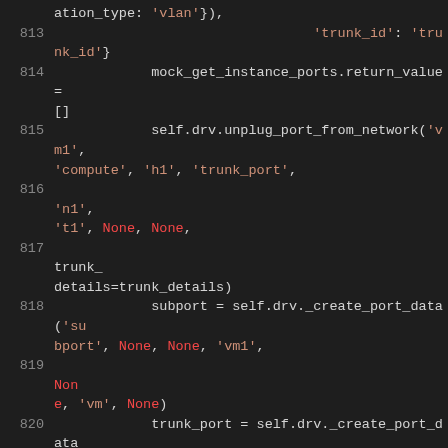[Figure (screenshot): Source code snippet showing Python test code lines 813-824 with syntax highlighting on dark background. Code shows mock setup for trunk port network operations.]